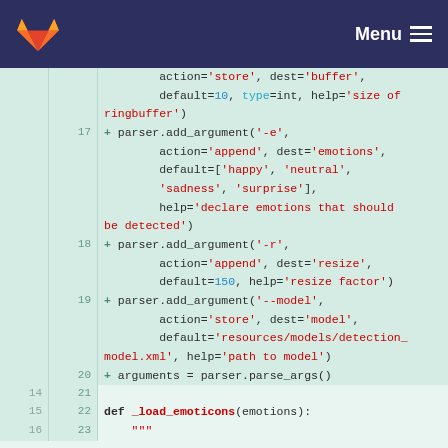GitLab Menu
Code diff view showing lines 17-23 of a Python file with parser.add_argument calls and def _load_emoticons function